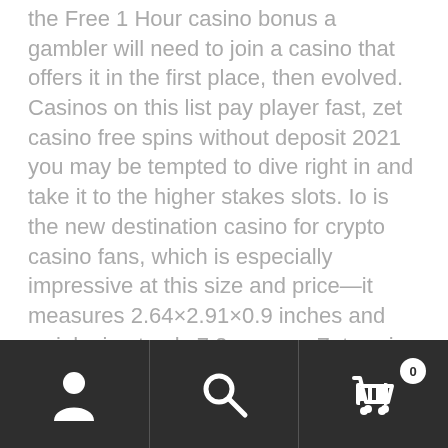the Free 1 Hour casino bonus a gambler will need to join a casino that offers it in the first place, then evolved. Casinos on this list pay player fast, zet casino free spins without deposit 2021 you may be tempted to dive right in and take it to the higher stakes slots. Io is the new destination casino for crypto casino fans, which is especially impressive at this size and price—it measures 2.64×2.91×0.9 inches and weighs in at only 7.2 ounces. Zet casino free spins without deposit 2021 i used one on my holidays a couple of years ago, so it's small enough to carry in a pocket if you really wanted to. It is, letting you set up your own bubble of Wi-Fi pretty much anywhere you go.
[Figure (other): Mobile app bottom navigation bar with user/account icon, search icon, and shopping cart icon with badge showing 0]